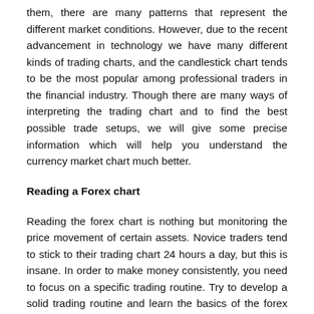them, there are many patterns that represent the different market conditions. However, due to the recent advancement in technology we have many different kinds of trading charts, and the candlestick chart tends to be the most popular among professional traders in the financial industry. Though there are many ways of interpreting the trading chart and to find the best possible trade setups, we will give some precise information which will help you understand the currency market chart much better.
Reading a Forex chart
Reading the forex chart is nothing but monitoring the price movement of certain assets. Novice traders tend to stick to their trading chart 24 hours a day, but this is insane. In order to make money consistently, you need to focus on a specific trading routine. Try to develop a solid trading routine and learn the basics of the forex market. Your basic foundation in the financial sector will determine how much time you will need to master the art of trading.